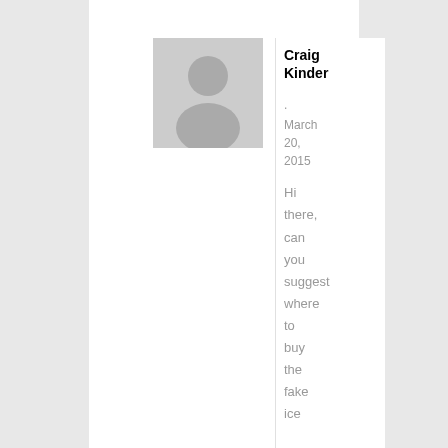[Figure (illustration): Default user avatar placeholder — a grey circle with a white silhouette of a person (head and shoulders) on a light grey square background]
Craig Kinder
. March 20, 2015
Hi there, can you suggest where to buy the fake ice